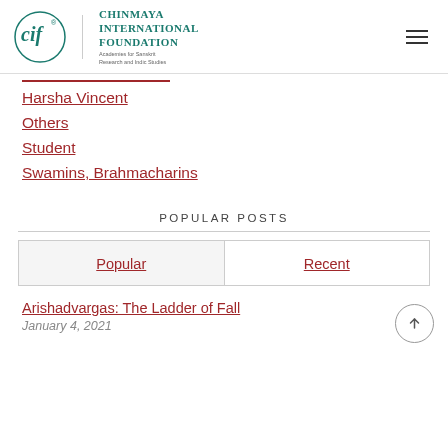Chinmaya International Foundation — Academies for Sanskrit Research and Indic Studies
Harsha Vincent
Others
Student
Swamins, Brahmacharins
POPULAR POSTS
| Popular | Recent |
| --- | --- |
Arishadvargas: The Ladder of Fall
January 4, 2021